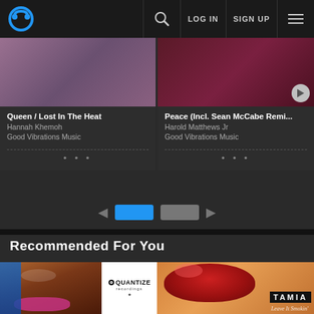LOG IN  SIGN UP
Queen / Lost In The Heat
Hannah Khemoh
Good Vibrations Music
Peace (Incl. Sean McCabe Remi...
Harold Matthews Jr
Good Vibrations Music
Recommended For You
[Figure (screenshot): Quantize Recordings album art showing a Black woman's face with blue hair and dramatic makeup on left, white area with Quantize Recordings logo on right]
[Figure (screenshot): Tamia - Leave It Smokin' album art showing red lips on warm orange/gold background with TAMIA text banner]